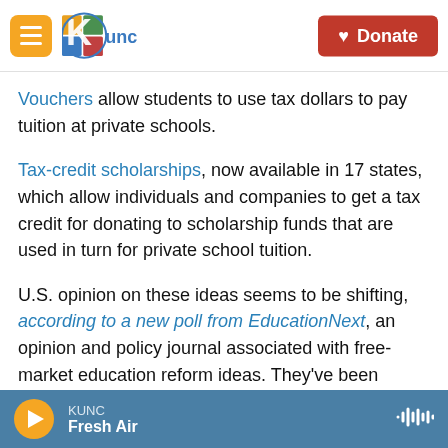[Figure (screenshot): KUNC radio website header with hamburger menu button, KUNC logo, and red Donate button]
Vouchers allow students to use tax dollars to pay tuition at private schools.
Tax-credit scholarships, now available in 17 states, which allow individuals and companies to get a tax credit for donating to scholarship funds that are used in turn for private school tuition.
U.S. opinion on these ideas seems to be shifting, according to a new poll from EducationNext, an opinion and policy journal associated with free-market education reform ideas. They’ve been asking similar questions for the past decade.
[Figure (screenshot): KUNC audio player bar showing play button, station name KUNC, and show name Fresh Air]